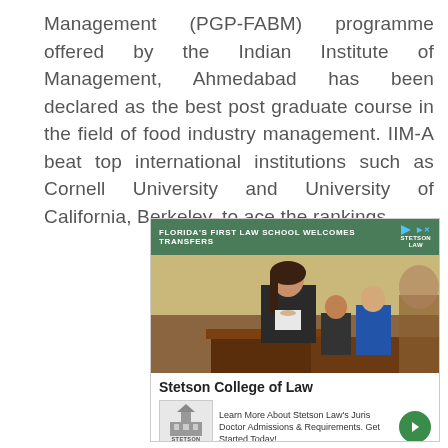Management (PGP-FABM) programme offered by the Indian Institute of Management, Ahmedabad has been declared as the best post graduate course in the field of food industry management. IIM-A beat top international institutions such as Cornell University and University of California, Berkeley, to ace the rankings.
[Figure (other): Advertisement for Stetson College of Law. Green banner reads 'FLORIDA'S FIRST LAW SCHOOL WELCOMES TRANSFERS' with Stetson Law logo. Photo shows a woman speaking at a podium in a courtroom-like setting with other people seated behind. Bottom section reads 'Stetson College of Law' and 'Learn More About Stetson Law's Juris Doctor Admissions & Requirements. Get Started Today!' with Stetson Law logo and a green arrow button.]